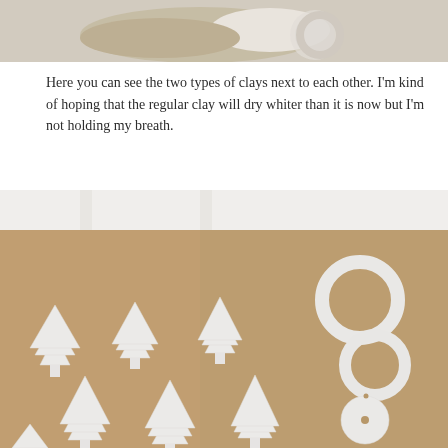[Figure (photo): Close-up photo of two types of clay objects side by side — a beige/tan clay piece and a white clay piece, showing color contrast between regular clay and white clay]
Here you can see the two types of clays next to each other. I'm kind of hoping that the regular clay will dry whiter than it is now but I'm not holding my breath.
[Figure (photo): Overhead photo of white clay Christmas ornaments laid out on brown kraft paper on a white table — multiple Christmas tree shapes and ring/circle shapes in various sizes, all white and freshly cut from clay]